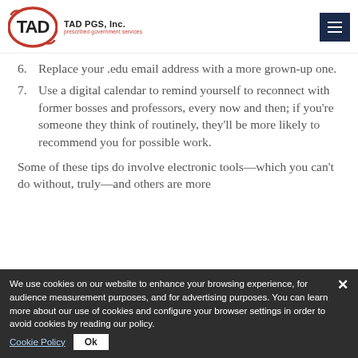TAD PGS, Inc. — prescribed government services
6. Replace your .edu email address with a more grown-up one.
7. Use a digital calendar to remind yourself to reconnect with former bosses and professors, every now and then; if you're someone they think of routinely, they'll be more likely to recommend you for possible work.
Some of these tips do involve electronic tools—which you can't do without, truly—and others are more
We use cookies on our website to enhance your browsing experience, for audience measurement purposes, and for advertising purposes. You can learn more about our use of cookies and configure your browser settings in order to avoid cookies by reading our policy.  Cookie Policy  Ok